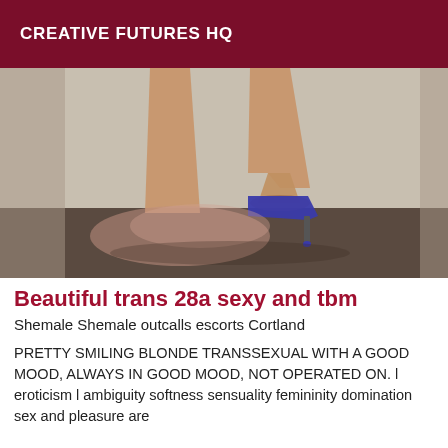CREATIVE FUTURES HQ
[Figure (photo): Cropped photo showing legs of a person wearing high heels (blue/purple stilettos), standing on a dark floor with a beige/gray background. Lower body partially blurred.]
Beautiful trans 28a sexy and tbm
Shemale Shemale outcalls escorts Cortland
PRETTY SMILING BLONDE TRANSSEXUAL WITH A GOOD MOOD, ALWAYS IN GOOD MOOD, NOT OPERATED ON. l eroticism l ambiguity softness sensuality femininity domination sex and pleasure are